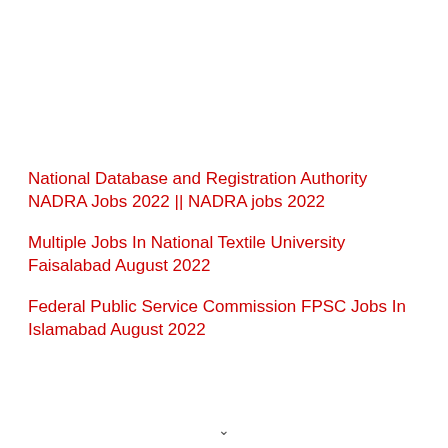National Database and Registration Authority NADRA Jobs 2022 || NADRA jobs 2022
Multiple Jobs In National Textile University Faisalabad August 2022
Federal Public Service Commission FPSC Jobs In Islamabad August 2022